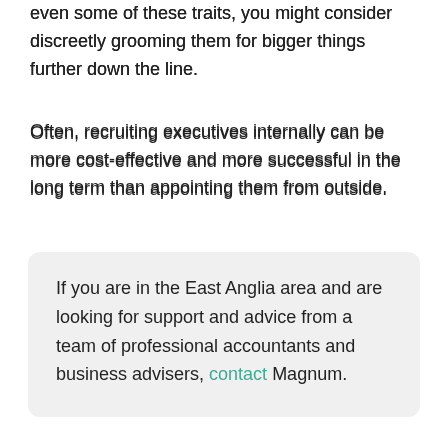even some of these traits, you might consider discreetly grooming them for bigger things further down the line.
Often, recruiting executives internally can be more cost-effective and more successful in the long term than appointing them from outside.
If you are in the East Anglia area and are looking for support and advice from a team of professional accountants and business advisers, contact Magnum.
Bringing training in-house
Conducting a successful interview
Consulting your staff